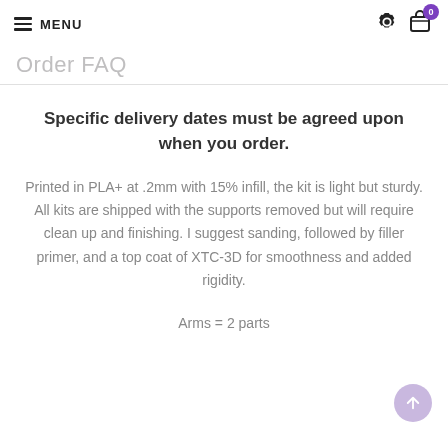MENU
Order FAQ
Specific delivery dates must be agreed upon when you order.
Printed in PLA+ at .2mm with 15% infill, the kit is light but sturdy. All kits are shipped with the supports removed but will require clean up and finishing. I suggest sanding, followed by filler primer, and a top coat of XTC-3D for smoothness and added rigidity.
Arms = 2 parts